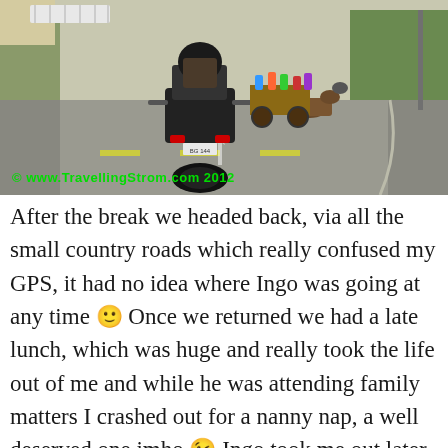[Figure (photo): Road scene with motorcyclist viewed from behind, a horse-drawn cart ahead, on a suburban road. Green watermark reads '© www.TravellingStrom.com 2012'.]
After the break we headed back, via all the small country roads which really confused my GPS, it had no idea where Ingo was going at any time 🙂 Once we returned we had a late lunch, which was huge and really took the life out of me and while he was attending family matters I crashed out for a nanny nap, a well deserved one imho 😉 Ingo took me out later for a walk through the old city area, this is where we started the geocache hunt, but came up empty handed and in fact for the next few hours we went to three different ones and did not find a thing 😐 A very